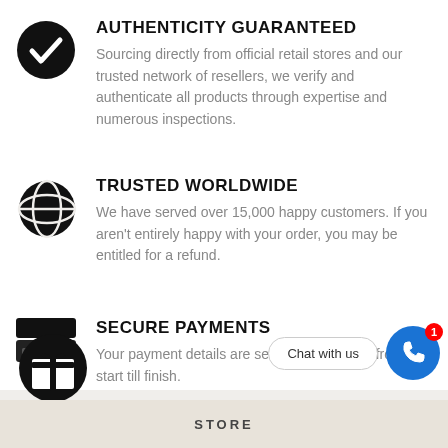[Figure (illustration): Black circle with white checkmark icon]
AUTHENTICITY GUARANTEED
Sourcing directly from official retail stores and our trusted network of resellers, we verify and authenticate all products through expertise and numerous inspections.
[Figure (illustration): Black globe/grid icon]
TRUSTED WORLDWIDE
We have served over 15,000 happy customers. If you aren't entirely happy with your order, you may be entitled for a refund.
[Figure (illustration): Credit card icon (two stacked rectangles)]
SECURE PAYMENTS
Your payment details are securely encrypted from start till finish.
[Figure (illustration): Black circle with gift box icon (floating button)]
[Figure (illustration): Chat with us button and WhatsApp bubble with badge showing 1]
STORE